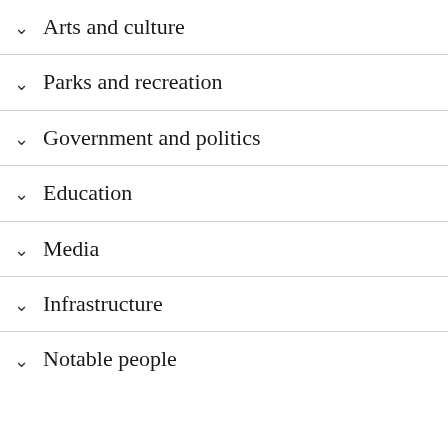Arts and culture
Parks and recreation
Government and politics
Education
Media
Infrastructure
Notable people